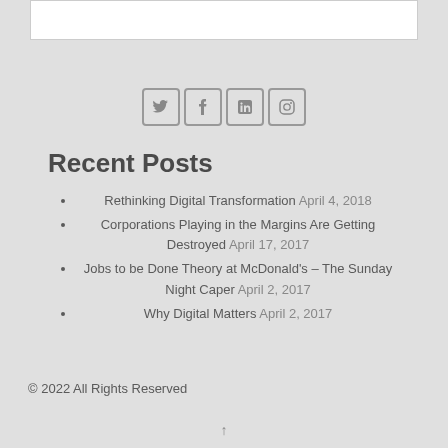[Figure (other): Social media icons: Twitter, Facebook, LinkedIn, Instagram in rounded square outlines]
Recent Posts
Rethinking Digital Transformation April 4, 2018
Corporations Playing in the Margins Are Getting Destroyed April 17, 2017
Jobs to be Done Theory at McDonald's – The Sunday Night Caper April 2, 2017
Why Digital Matters April 2, 2017
© 2022 All Rights Reserved